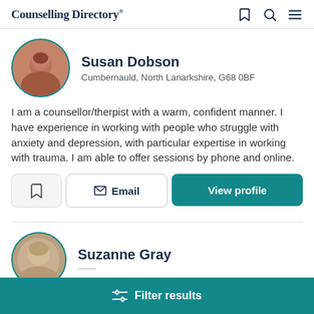Counselling Directory
Susan Dobson
Cumbernauld, North Lanarkshire, G68 0BF
I am a counsellor/therpist with a warm, confident manner. I have experience in working with people who struggle with anxiety and depression, with particular expertise in working with trauma. I am able to offer sessions by phone and online.
Email
View profile
Suzanne Gray
Filter results